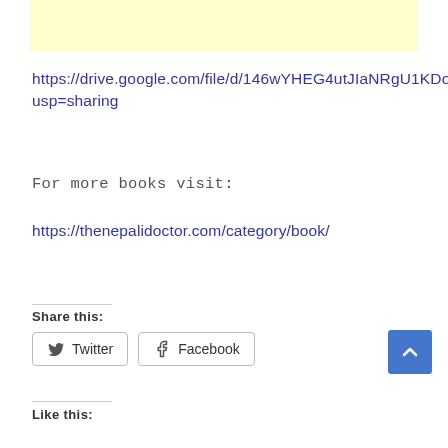[Figure (other): Advertisement banner with light yellow background]
https://drive.google.com/file/d/146wYHEG4utJIaNRgU1KDoxbIb6nSlvW4/view?usp=sharing
For more books visit:
https://thenepalidoctor.com/category/book/
Share this:
Twitter
Facebook
Like this: